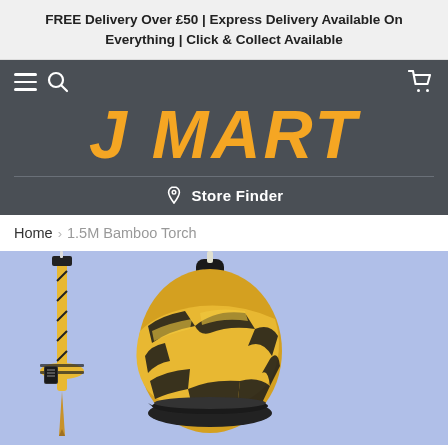FREE Delivery Over £50 | Express Delivery Available On Everything | Click & Collect Available
[Figure (logo): J MART logo with hamburger menu, search, and cart icons on dark grey background, with Store Finder below]
Home › 1.5M Bamboo Torch
[Figure (photo): Product photo of 1.5M Bamboo Torch against a light blue/periwinkle background, showing close-up of the black metal torch head wrapped with yellow and black bamboo strips, and a smaller full-length torch in the background left]